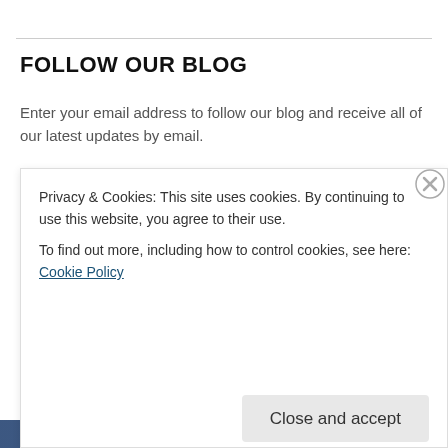FOLLOW OUR BLOG
Enter your email address to follow our blog and receive all of our latest updates by email.
Privacy & Cookies: This site uses cookies. By continuing to use this website, you agree to their use.
To find out more, including how to control cookies, see here: Cookie Policy
Close and accept